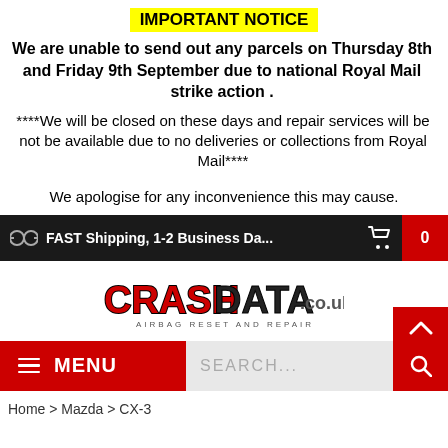IMPORTANT NOTICE
We are unable to send out any parcels on Thursday 8th and Friday 9th September due to national Royal Mail strike action .
****We will be closed on these days and repair services will be not be available due to no deliveries or collections from Royal Mail****
We apologise for any inconvenience this may cause.
FAST Shipping, 1-2 Business Da...
[Figure (logo): CrashData.co.uk logo - Airbag Reset and Repair]
MENU | SEARCH...
Home > Mazda > CX-3